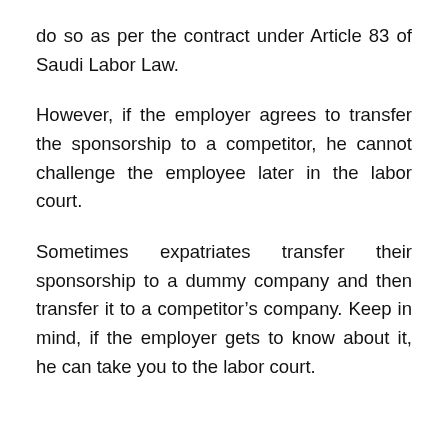do so as per the contract under Article 83 of Saudi Labor Law.
However, if the employer agrees to transfer the sponsorship to a competitor, he cannot challenge the employee later in the labor court.
Sometimes expatriates transfer their sponsorship to a dummy company and then transfer it to a competitor’s company. Keep in mind, if the employer gets to know about it, he can take you to the labor court.